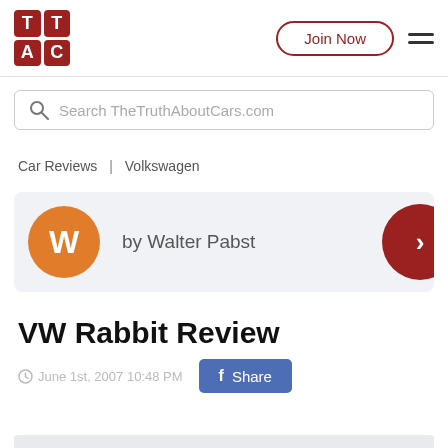[Figure (logo): TTAC logo — 2x2 grid of dark red squares with white letters T, T, A, C]
Join Now
Search TheTruthAboutCars.com
Car Reviews  |  Volkswagen
by Walter Pabst
VW Rabbit Review
June 1st, 2007 10:48 PM
Share